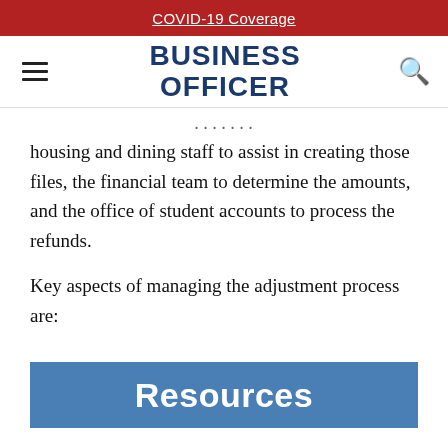COVID-19 Coverage
BUSINESS OFFICER
housing and dining staff to assist in creating those files, the financial team to determine the amounts, and the office of student accounts to process the refunds.
Key aspects of managing the adjustment process are:
Resources